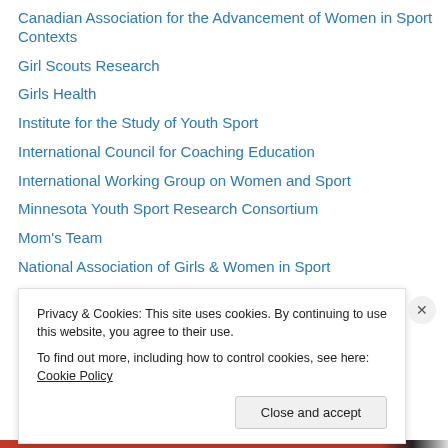Canadian Association for the Advancement of Women in Sport Contexts
Girl Scouts Research
Girls Health
Institute for the Study of Youth Sport
International Council for Coaching Education
International Working Group on Women and Sport
Minnesota Youth Sport Research Consortium
Mom's Team
National Association of Girls & Women in Sport
National Council for Research on Women
National Research Council
North American Society for Sport Sociology
Privacy & Cookies: This site uses cookies. By continuing to use this website, you agree to their use.
To find out more, including how to control cookies, see here: Cookie Policy